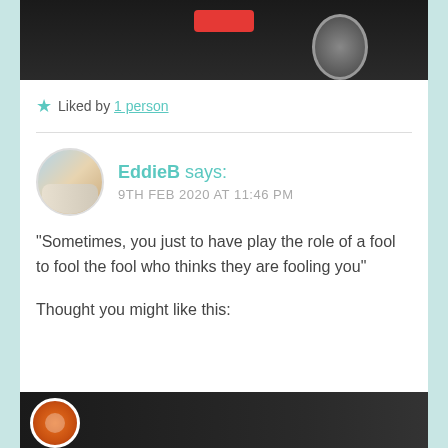[Figure (photo): Top portion of a dark/black and white photo showing a red button/label element and a partial view of a person in a suit holding something with a watch visible]
★ Liked by 1 person
EddieB says:
9TH FEB 2020 AT 11:46 PM
“Sometimes, you just to have play the role of a fool to fool the fool who thinks they are fooling you”
Thought you might like this:
[Figure (photo): Bottom portion showing a dark image with a circular badge/logo on the left side]